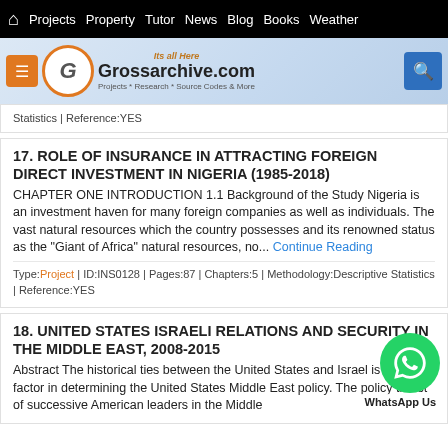🏠 Projects  Property  Tutor  News  Blog  Books  Weather
[Figure (logo): Grossarchive.com logo with orange G circle, menu button, search button, and tagline 'Its all Here / Projects * Research * Source Codes & More']
Statistics | Reference:YES
17. ROLE OF INSURANCE IN ATTRACTING FOREIGN DIRECT INVESTMENT IN NIGERIA (1985-2018)
CHAPTER ONE INTRODUCTION 1.1 Background of the Study Nigeria is an investment haven for many foreign companies as well as individuals. The vast natural resources which the country possesses and its renowned status as the "Giant of Africa" natural resources, no... Continue Reading
Type:Project | ID:INS0128 | Pages:87 | Chapters:5 | Methodology:Descriptive Statistics | Reference:YES
18. UNITED STATES ISRAELI RELATIONS AND SECURITY IN THE MIDDLE EAST, 2008-2015
Abstract The historical ties between the United States and Israel is a crucial factor in determining the United States Middle East policy. The policy thrust of successive American leaders in the Middle...